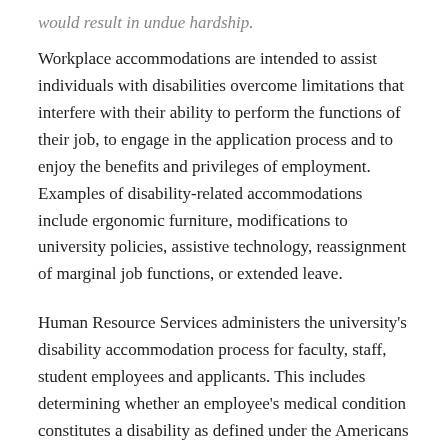would result in undue hardship.
Workplace accommodations are intended to assist individuals with disabilities overcome limitations that interfere with their ability to perform the functions of their job, to engage in the application process and to enjoy the benefits and privileges of employment. Examples of disability-related accommodations include ergonomic furniture, modifications to university policies, assistive technology, reassignment of marginal job functions, or extended leave.
Human Resource Services administers the university's disability accommodation process for faculty, staff, student employees and applicants. This includes determining whether an employee's medical condition constitutes a disability as defined under the Americans with Disabilities Act, as amended, and working to ensure that employees with disabilities have an opportunity to engage in an interactive process with the objective of